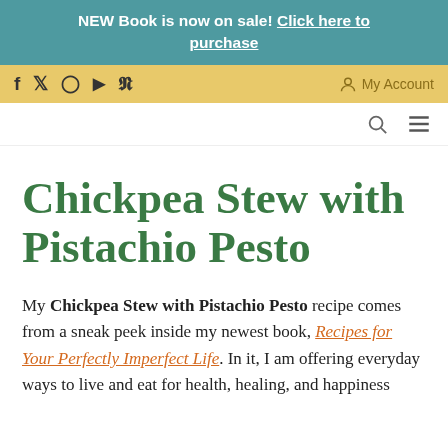NEW Book is now on sale! Click here to purchase
f  Twitter  Instagram  YouTube  Pinterest    My Account
Chickpea Stew with Pistachio Pesto
My Chickpea Stew with Pistachio Pesto recipe comes from a sneak peek inside my newest book, Recipes for Your Perfectly Imperfect Life. In it, I am offering everyday ways to live and eat for health, healing, and happiness